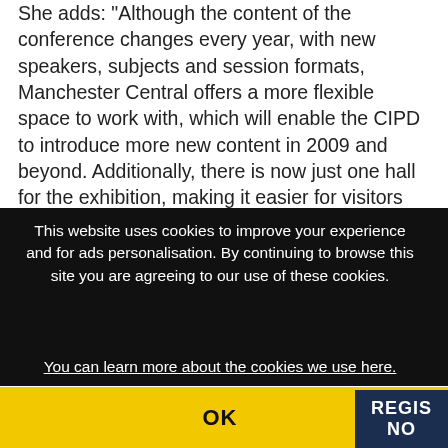She adds: "Although the content of the conference changes every year, with new speakers, subjects and session formats, Manchester Central offers a more flexible space to work with, which will enable the CIPD to introduce more new content in 2009 and beyond. Additionally, there is now just one hall for the exhibition, making it easier for visitors and delegates to access and
[Figure (screenshot): Cookie consent overlay on a website. Black background with white text reading 'This website uses cookies to improve your experience and for ads personalisation. By continuing to browse this site you are agreeing to our use of these cookies. You can learn more about the cookies we use here.' with an underlined link. Below is a yellow OK button bar. To the right is a dark navy blue button showing 'REGIS NO' (partially visible).]